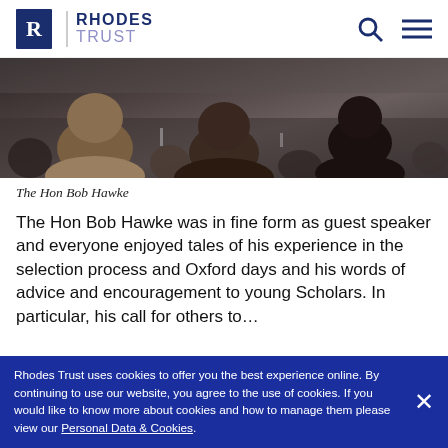RHODES TRUST
[Figure (photo): Crowd of people seated at a formal dinner event, viewed from behind, with dark hair and formal attire visible.]
The Hon Bob Hawke
The Hon Bob Hawke was in fine form as guest speaker and everyone enjoyed tales of his experience in the selection process and Oxford days and his words of advice and encouragement to young Scholars. In particular, his call for others to…
Rhodes Trust uses cookies to offer you the best experience online. By continuing to use our website, you agree to the use of cookies. If you would like to know more about cookies and how to manage them please view our Personal Data & Cookies.